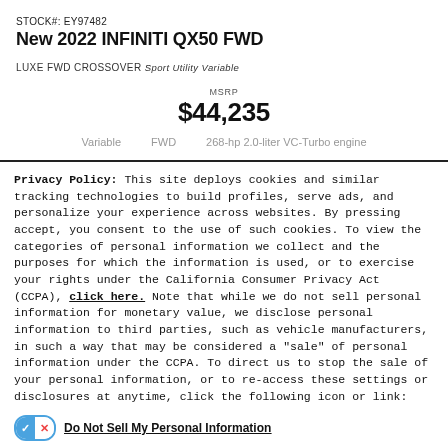STOCK#: EY97482
New 2022 INFINITI QX50 FWD
LUXE FWD CROSSOVER Sport Utility Variable
MSRP $44,235
Variable    FWD    268-hp 2.0-liter VC-Turbo engine
Privacy Policy: This site deploys cookies and similar tracking technologies to build profiles, serve ads, and personalize your experience across websites. By pressing accept, you consent to the use of such cookies. To view the categories of personal information we collect and the purposes for which the information is used, or to exercise your rights under the California Consumer Privacy Act (CCPA), click here. Note that while we do not sell personal information for monetary value, we disclose personal information to third parties, such as vehicle manufacturers, in such a way that may be considered a "sale" of personal information under the CCPA. To direct us to stop the sale of your personal information, or to re-access these settings or disclosures at anytime, click the following icon or link:
Do Not Sell My Personal Information
Language: English     Powered by ComplyAuto
Accept and Continue →    California Privacy Disclosures    ×